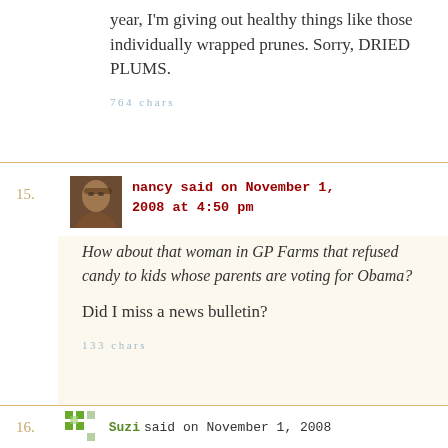year, I'm giving out healthy things like those individually wrapped prunes. Sorry, DRIED PLUMS.
764 chars
15. nancy said on November 1, 2008 at 4:50 pm
How about that woman in GP Farms that refused candy to kids whose parents are voting for Obama?

Did I miss a news bulletin?
133 chars
16. Suzi said on November 1, 2008